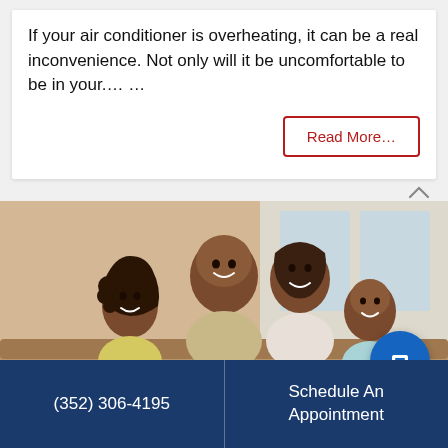If your air conditioner is overheating, it can be a real inconvenience. Not only will it be uncomfortable to be in your.… …
Read More…
[Figure (photo): A smiling family of four — a father, mother, daughter, and son — sitting together on a couch in a warm home setting.]
(352) 306-4195
Schedule An Appointment